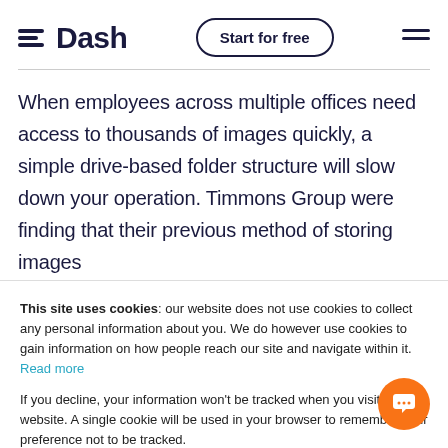Dash — Start for free
When employees across multiple offices need access to thousands of images quickly, a simple drive-based folder structure will slow down your operation. Timmons Group were finding that their previous method of storing images
This site uses cookies: our website does not use cookies to collect any personal information about you. We do however use cookies to gain information on how people reach our site and navigate within it. Read more

If you decline, your information won't be tracked when you visit this website. A single cookie will be used in your browser to remember your preference not to be tracked.
Settings | Accept | Decline